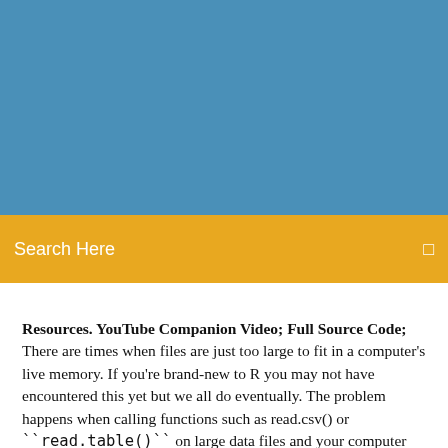[Figure (other): Blue banner background spanning the top portion of the page]
Search Here
Resources. YouTube Companion Video; Full Source Code; There are times when files are just too large to fit in a computer's live memory. If you're brand-new to R you may not have encountered this yet but we all do eventually. The problem happens when calling functions such as read.csv() or ```read.table()`` on large data files and your computer ends up freezing or choking.